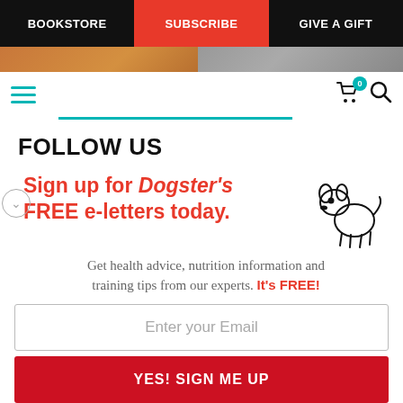BOOKSTORE | SUBSCRIBE | GIVE A GIFT
[Figure (screenshot): Partial dog photo image strip at top]
[Figure (screenshot): Navigation toolbar with hamburger menu, cart icon with badge 0, and search icon, with teal underline]
FOLLOW US
[Figure (illustration): Sign up for Dogster's FREE e-letters today. promotional block with cartoon dog illustration, email input field, and YES! SIGN ME UP button. Text: Get health advice, nutrition information and training tips from our experts. It's FREE!]